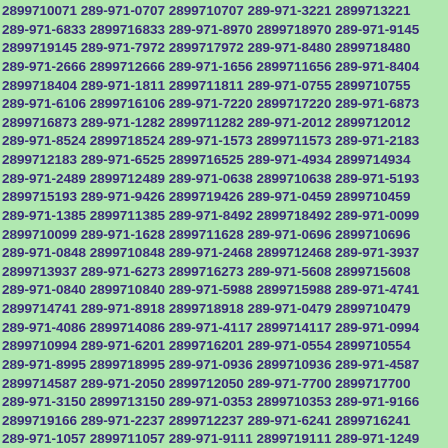2899710071 289-971-0707 2899710707 289-971-3221 2899713221 289-971-6833 2899716833 289-971-8970 2899718970 289-971-9145 2899719145 289-971-7972 2899717972 289-971-8480 2899718480 289-971-2666 2899712666 289-971-1656 2899711656 289-971-8404 2899718404 289-971-1811 2899711811 289-971-0755 2899710755 289-971-6106 2899716106 289-971-7220 2899717220 289-971-6873 2899716873 289-971-1282 2899711282 289-971-2012 2899712012 289-971-8524 2899718524 289-971-1573 2899711573 289-971-2183 2899712183 289-971-6525 2899716525 289-971-4934 2899714934 289-971-2489 2899712489 289-971-0638 2899710638 289-971-5193 2899715193 289-971-9426 2899719426 289-971-0459 2899710459 289-971-1385 2899711385 289-971-8492 2899718492 289-971-0099 2899710099 289-971-1628 2899711628 289-971-0696 2899710696 289-971-0848 2899710848 289-971-2468 2899712468 289-971-3937 2899713937 289-971-6273 2899716273 289-971-5608 2899715608 289-971-0840 2899710840 289-971-5988 2899715988 289-971-4741 2899714741 289-971-8918 2899718918 289-971-0479 2899710479 289-971-4086 2899714086 289-971-4117 2899714117 289-971-0994 2899710994 289-971-6201 2899716201 289-971-0554 2899710554 289-971-8995 2899718995 289-971-0936 2899710936 289-971-4587 2899714587 289-971-2050 2899712050 289-971-7700 2899717700 289-971-3150 2899713150 289-971-0353 2899710353 289-971-9166 2899719166 289-971-2237 2899712237 289-971-6241 2899716241 289-971-1057 2899711057 289-971-9111 2899719111 289-971-1249 2899711249 289-971-7002 2899717002 289-971-9990 2899719990 289-971-9032 2899719032 289-971-0284 2899710284 289-971-9032